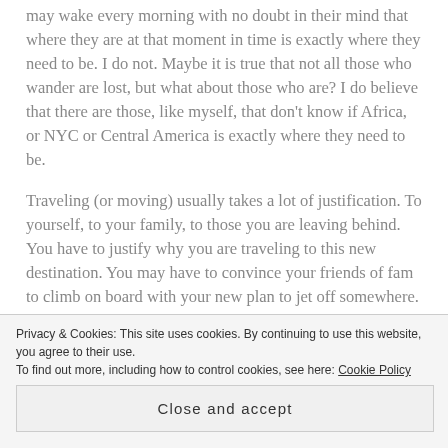may wake every morning with no doubt in their mind that where they are at that moment in time is exactly where they need to be. I do not. Maybe it is true that not all those who wander are lost, but what about those who are? I do believe that there are those, like myself, that don't know if Africa, or NYC or Central America is exactly where they need to be.
Traveling (or moving) usually takes a lot of justification. To yourself, to your family, to those you are leaving behind. You have to justify why you are traveling to this new destination. You may have to convince your friends of fam to climb on board with your new plan to jet off somewhere. All in hopes of arriving somewhere new
Privacy & Cookies: This site uses cookies. By continuing to use this website, you agree to their use. To find out more, including how to control cookies, see here: Cookie Policy
Close and accept